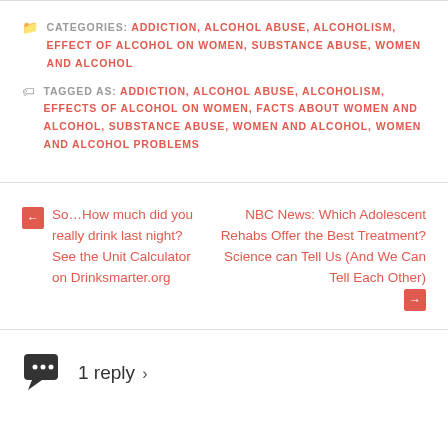CATEGORIES: ADDICTION, ALCOHOL ABUSE, ALCOHOLISM, EFFECT OF ALCOHOL ON WOMEN, SUBSTANCE ABUSE, WOMEN AND ALCOHOL
TAGGED AS: ADDICTION, ALCOHOL ABUSE, ALCOHOLISM, EFFECTS OF ALCOHOL ON WOMEN, FACTS ABOUT WOMEN AND ALCOHOL, SUBSTANCE ABUSE, WOMEN AND ALCOHOL, WOMEN AND ALCOHOL PROBLEMS
← So…How much did you really drink last night? See the Unit Calculator on Drinksmarter.org
NBC News: Which Adolescent Rehabs Offer the Best Treatment? Science can Tell Us (And We Can Tell Each Other) →
1 reply ›